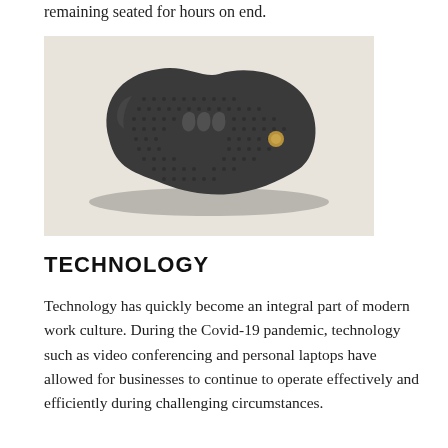remaining seated for hours on end.
[Figure (photo): A dark grey ergonomic seat cushion or balance board with a textured dot pattern on the surface, three raised ridges in the center, and a small gold/tan circular detail on the right side. The object is photographed on a light beige background.]
TECHNOLOGY
Technology has quickly become an integral part of modern work culture. During the Covid-19 pandemic, technology such as video conferencing and personal laptops have allowed for businesses to continue to operate effectively and efficiently during challenging circumstances.